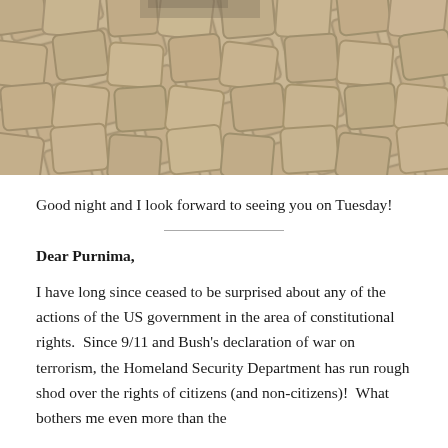[Figure (photo): Overhead view of cobblestone pavement with sandy grout between stones, sepia/beige tones, with a partial view of a shoe at the top.]
Good night and I look forward to seeing you on Tuesday!
Dear Purnima,
I have long since ceased to be surprised about any of the actions of the US government in the area of constitutional rights.  Since 9/11 and Bush's declaration of war on terrorism, the Homeland Security Department has run rough shod over the rights of citizens (and non-citizens)!  What bothers me even more than the